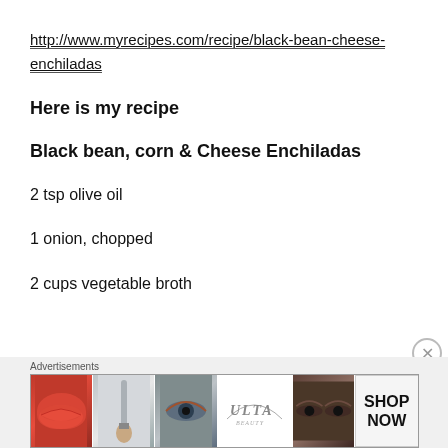http://www.myrecipes.com/recipe/black-bean-cheese-enchiladas
Here is my recipe
Black bean, corn & Cheese Enchiladas
2 tsp olive oil
1 onion, chopped
2 cups vegetable broth
[Figure (other): Advertisement banner for ULTA beauty with cosmetics imagery including lips, makeup brush, eyes, ULTA logo, and SHOP NOW button]